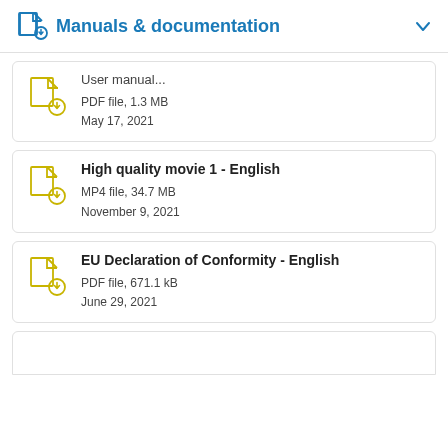Manuals & documentation
User manual... PDF file, 1.3 MB May 17, 2021
High quality movie 1 - English MP4 file, 34.7 MB November 9, 2021
EU Declaration of Conformity - English PDF file, 671.1 kB June 29, 2021